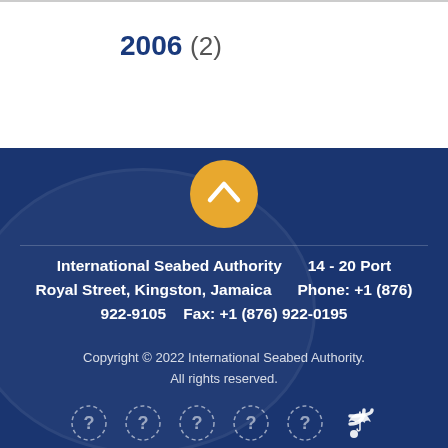2006 (2)
International Seabed Authority   14 - 20 Port Royal Street, Kingston, Jamaica   Phone: +1 (876) 922-9105   Fax: +1 (876) 922-0195
Copyright © 2022 International Seabed Authority. All rights reserved.
© 2022 International Seabed Authority